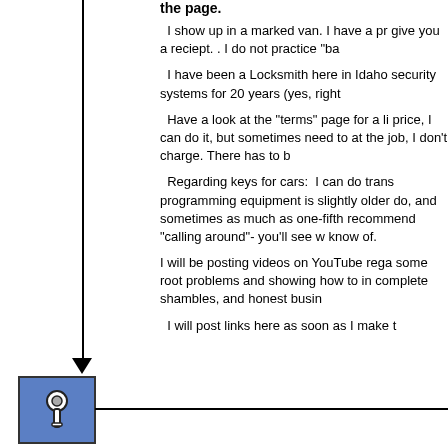the page.
I show up in a marked van. I have a proper uniform. I give you a reciept. . I do not practice "ba
I have been a Locksmith here in Idaho security systems for 20 years (yes, right
Have a look at the "terms" page for a li price, I can do it, but sometimes need to at the job, I don't charge. There has to b
Regarding keys for cars: I can do trans programming equipment is slightly older do, and sometimes as much as one-fifth recommend "calling around"- you'll see w know of.
I will be posting videos on YouTube rega some root problems and showing how to in complete shambles, and honest busin
I will post links here as soon as I make t
[Figure (illustration): A locksmith icon - a key/thumbtack symbol on a blue square background with a downward arrow pointing to it from above]